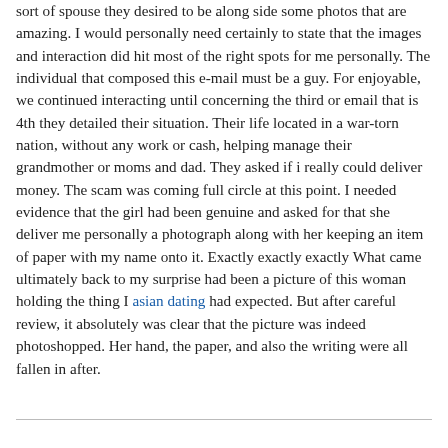sort of spouse they desired to be along side some photos that are amazing. I would personally need certainly to state that the images and interaction did hit most of the right spots for me personally. The individual that composed this e-mail must be a guy. For enjoyable, we continued interacting until concerning the third or email that is 4th they detailed their situation. Their life located in a war-torn nation, without any work or cash, helping manage their grandmother or moms and dad. They asked if i really could deliver money. The scam was coming full circle at this point. I needed evidence that the girl had been genuine and asked for that she deliver me personally a photograph along with her keeping an item of paper with my name onto it. Exactly exactly exactly What came ultimately back to my surprise had been a picture of this woman holding the thing I asian dating had expected. But after careful review, it absolutely was clear that the picture was indeed photoshopped. Her hand, the paper, and also the writing were all fallen in after.